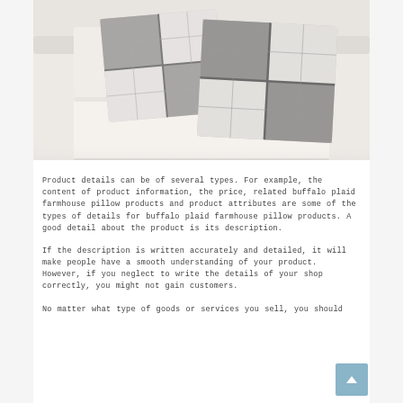[Figure (photo): Photo of a white sofa/couch with two gray and white buffalo plaid checkered throw pillows on it, viewed from a slight angle showing the seat cushion and armrest.]
Product details can be of several types. For example, the content of product information, the price, related buffalo plaid farmhouse pillow products and product attributes are some of the types of details for buffalo plaid farmhouse pillow products. A good detail about the product is its description.
If the description is written accurately and detailed, it will make people have a smooth understanding of your product. However, if you neglect to write the details of your shop correctly, you might not gain customers.
No matter what type of goods or services you sell, you should